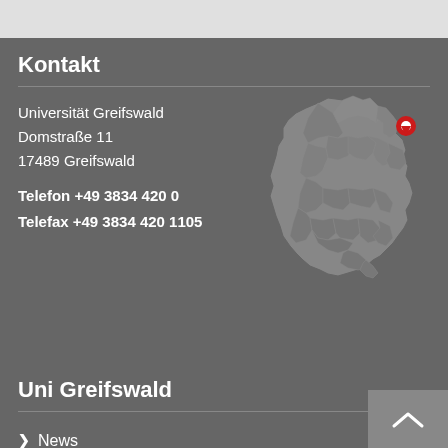Kontakt
Universität Greifswald
Domstraße 11
17489 Greifswald
Telefon +49 3834 420 0
Telefax +49 3834 420 1105
[Figure (map): Map of Germany with a red location pin marker in the northeast region indicating Greifswald]
Uni Greifswald
News
Veranstaltungskalender
Telefonsuche